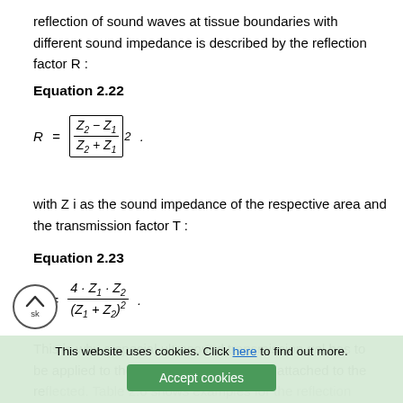reflection of sound waves at tissue boundaries with different sound impedance is described by the reflection factor R :
Equation 2.22
with Z i as the sound impedance of the respective area and the transmission factor T :
Equation 2.23
This is why a special ultrasound transmission gel has to be applied to the sound head before it is attached to the skin. Not all of the acoustic energy is transmitted but also reflected. Table 2.6 shows examples for the reflection